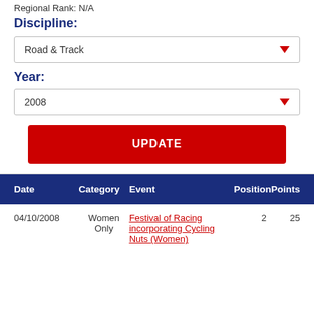Regional Rank: N/A
Discipline:
Road & Track
Year:
2008
UPDATE
| Date | Category | Event | Position | Points |
| --- | --- | --- | --- | --- |
| 04/10/2008 | Women Only | Festival of Racing incorporating Cycling Nuts (Women) | 2 | 25 |